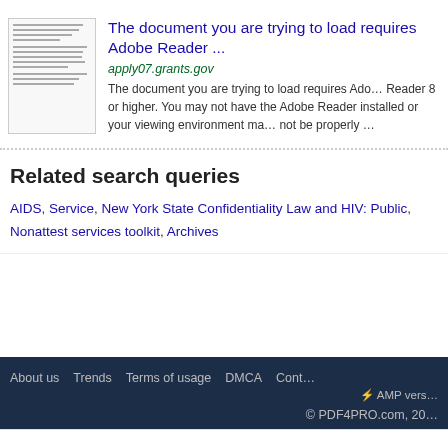[Figure (screenshot): Thumbnail preview of a PDF document page showing small text lines]
The document you are trying to load requires Adobe Reader ...
apply07.grants.gov
The document you are trying to load requires Adobe Reader 8 or higher. You may not have the Adobe Reader installed or your viewing environment ma not be properly ...
Related search queries
AIDS, Service, New York State Confidentiality Law and HIV: Public, Nonattest services toolkit, Archives
About us   Trends   Terms of usage   DMCA   Cont... ⚡ AMP vers... © PDF4PRO.com, 20...